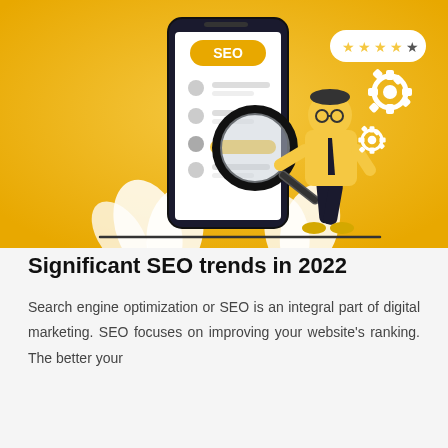[Figure (illustration): SEO-themed illustration on a golden/yellow gradient background. Shows a large smartphone with 'SEO' label on its screen displaying user profile icons. A person in yellow shirt and dark pants holds a large magnifying glass over the phone screen. A 5-star rating badge floats top-right, gear icons on far right, and white leaf/plant shapes at the bottom.]
Significant SEO trends in 2022
Search engine optimization or SEO is an integral part of digital marketing. SEO focuses on improving your website's ranking. The better your